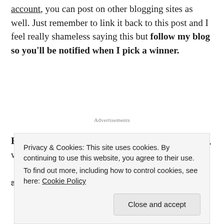account, you can post on other blogging sites as well. Just remember to link it back to this post and I feel really shameless saying this but follow my blog so you'll be notified when I pick a winner.
Advertisements
Be creative! Videos, Infographics, pictorials, poetry, write ups e.t.c are all welcome
and and and
Privacy & Cookies: This site uses cookies. By continuing to use this website, you agree to their use.
To find out more, including how to control cookies, see here: Cookie Policy
Close and accept